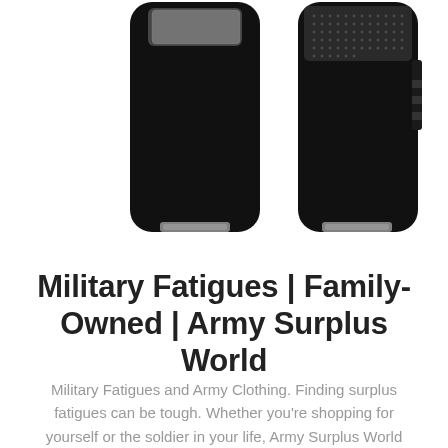[Figure (photo): Two black military-style devices (possibly cases or containers) shown side by side against a white background. Left device shows front view with a transparent/reflective top panel. Right device shows back view with a perforated panel and attached straps/pouches.]
Military Fatigues | Family-Owned | Army Surplus World
Military Fatigues and Army Clothing. Finding surplus fatigues can be tough. Whether you're shopping for yourself or the soldier in your life, Army Surplus World